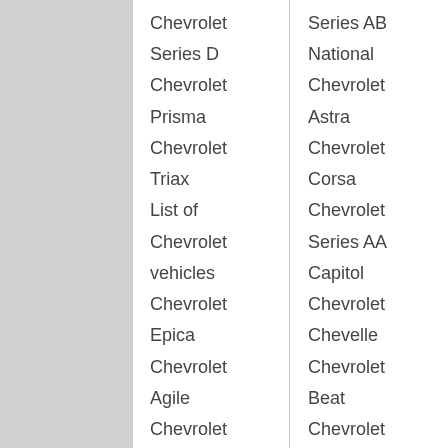Chevrolet
Series D
Chevrolet
Prisma
Chevrolet
Triax
List of Chevrolet vehicles
Chevrolet
Epica
Chevrolet
Agile
Chevrolet
Viva
Series AB
National
Chevrolet
Astra
Chevrolet
Corsa
Chevrolet
Series AA
Capitol
Chevrolet
Chevelle
Chevrolet
Beat
Chevrolet
Cassia